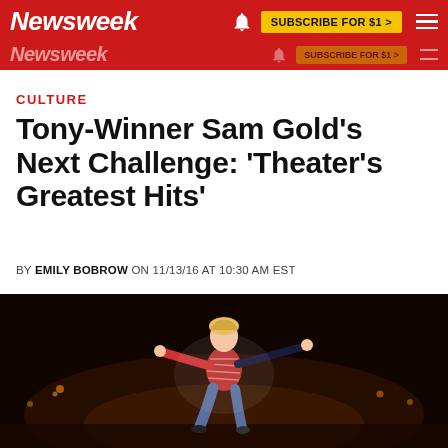Newsweek — SUBSCRIBE FOR $1 >
CULTURE
Tony-Winner Sam Gold's Next Challenge: 'Theater's Greatest Hits'
BY EMILY BOBROW ON 11/13/16 AT 10:30 AM EST
[Figure (photo): A young child with arms outstretched, leaping or flying through the air on a dark stage, wearing a red striped long-sleeve shirt and jeans. Theatrical lighting in the background.]